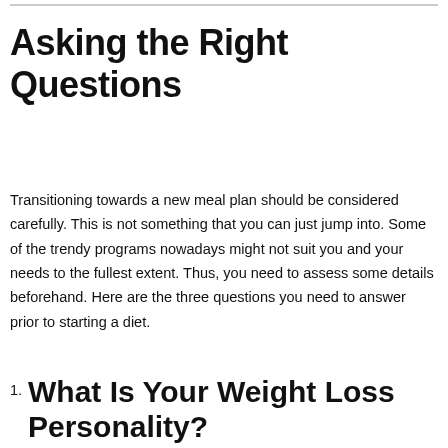Asking the Right Questions
Transitioning towards a new meal plan should be considered carefully. This is not something that you can just jump into. Some of the trendy programs nowadays might not suit you and your needs to the fullest extent. Thus, you need to assess some details beforehand. Here are the three questions you need to answer prior to starting a diet.
1. What Is Your Weight Loss Personality?
Did you know that being aware of your mealtime